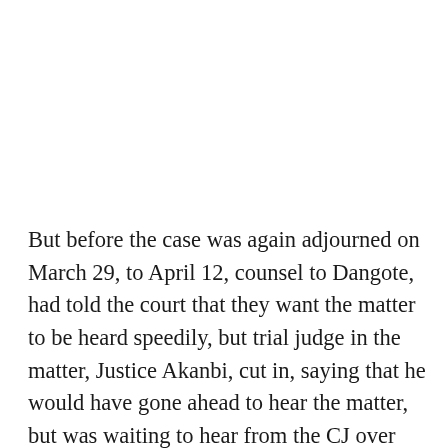But before the case was again adjourned on March 29, to April 12, counsel to Dangote, had told the court that they want the matter to be heard speedily, but trial judge in the matter, Justice Akanbi, cut in, saying that he would have gone ahead to hear the matter, but was waiting to hear from the CJ over the petition written against him. Justice Akanbi informed parties in court that one